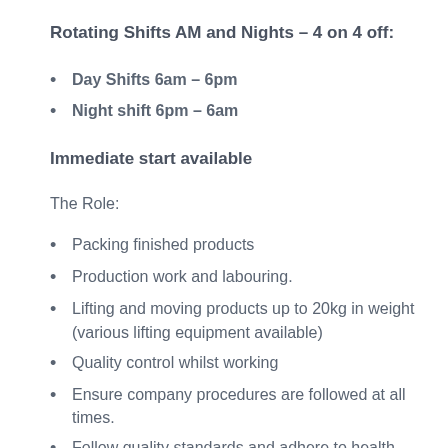Rotating Shifts AM and Nights – 4 on 4 off:
Day Shifts 6am – 6pm
Night shift 6pm – 6am
Immediate start available
The Role:
Packing finished products
Production work and labouring.
Lifting and moving products up to 20kg in weight (various lifting equipment available)
Quality control whilst working
Ensure company procedures are followed at all times.
Follow quality standards and adhere to health and safety policies.